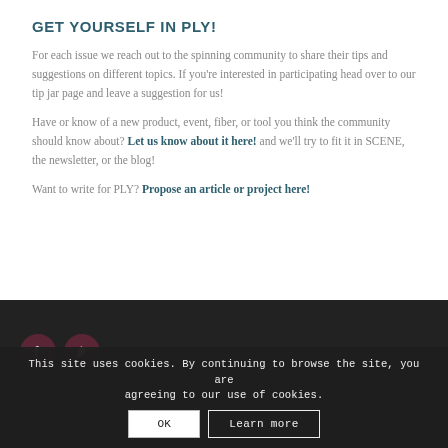GET YOURSELF IN PLY!
For each issue we reach out to the spinning community to share their tips and suggestions on different topics. If you're interested in participating head over to our tip jar page and leave a suggestion for us!
Have or know of a new product, event, fiber, or tool you think the community should know about? Let us know about it here! and we'll try to fit it in SCENE, the newsletter, or the blog!
Want to write for PLY? Propose an article or project here!
This site uses cookies. By continuing to browse the site, you are agreeing to our use of cookies. OK  Learn more